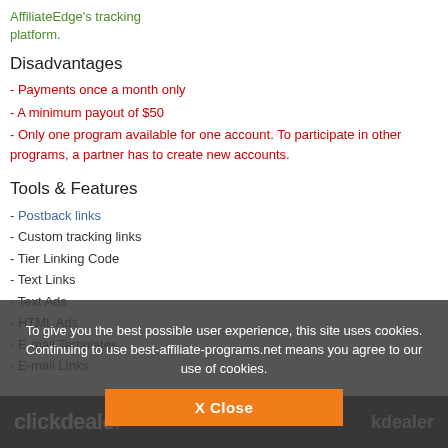AffiliateEdge's tracking platform.
Disadvantages
- Payments once a month only
- A minimum payout of $50
- Only one program available for one account. To participate in other programs, a partner has to create new accounts.
Tools & Features
- Postback links
- Custom tracking links
- Tier Linking Code
- Text Links
- Text Ads
- HTML Ads
- E-mail Templates
- E-mail Links
To give you the best possible user experience, this site uses cookies. Continuing to use best-affiliate-programs.net means you agree to our use of cookies.
X Close
clickdealer